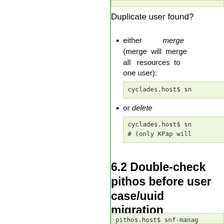Duplicate user found?
either merge (merge will merge all resources to one user):
cyclades.host$ sn
or delete
cyclades.host$ sn
# (only KPap will
6.2 Double-check pithos before user case/uuid migration
pithos.host$ snf-manag